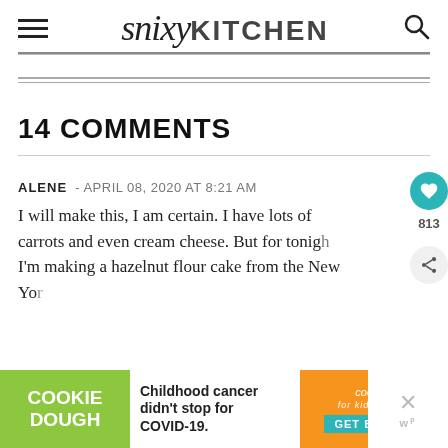snixyKITCHEN
14 COMMENTS
ALENE - APRIL 08, 2020 AT 8:21 AM
I will make this, I am certain. I have lots of carrots and even cream cheese. But for tonight I'm making a hazelnut flour cake from the New York Times for a close friend who I believe th
[Figure (other): Advertisement banner: Cookie Dough / Childhood cancer didn't stop for COVID-19. / cookies for kids cancer GET BAKING]